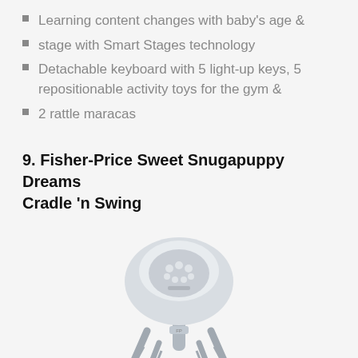Learning content changes with baby's age &amp
stage with Smart Stages technology
Detachable keyboard with 5 light-up keys, 5 repositionable activity toys for the gym &amp
2 rattle maracas
9. Fisher-Price Sweet Snugapuppy Dreams Cradle 'n Swing
[Figure (photo): Fisher-Price Sweet Snugapuppy Dreams Cradle 'n Swing product image showing a baby swing with grey legs, a large control unit on top, and hanging mobile toys.]